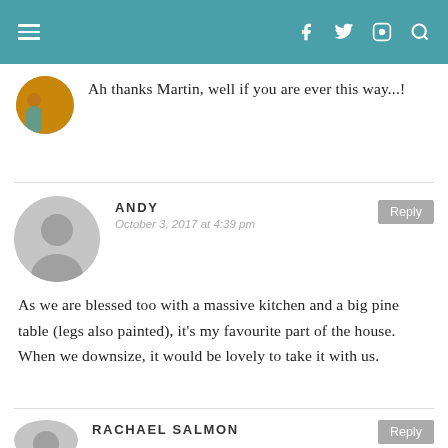navigation header with menu icon and social icons: f (Facebook), twitter, Instagram, search
Ah thanks Martin, well if you are ever this way...!
ANDY
October 3, 2017 at 4:39 pm
As we are blessed too with a massive kitchen and a big pine table (legs also painted), it's my favourite part of the house. When we downsize, it would be lovely to take it with us.
RACHAEL SALMON